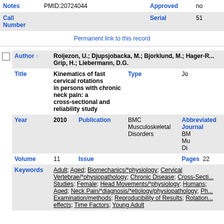| Notes |  | Approved |  |
| --- | --- | --- | --- |
| Notes | PMID:20724044 | Approved | no |
| Call Number |  | Serial | 51 |
Permanent link to this record
| Author | Title | Year | Publication | Abbreviated Journal | Volume | Issue | Pages | Keywords |
| --- | --- | --- | --- | --- | --- | --- | --- | --- |
| Roijezon, U.; Djupsjobacka, M.; Bjorklund, M.; Hager-R... Grip, H.; Liebermann, D.G. |  |  |  |  |  |  |  |  |
| Kinematics of fast cervical rotations in persons with chronic neck pain: a cross-sectional and reliability study |  | Type | Jo |  |  |  |  |  |
| 2010 |  | Publication | BMC Musculoskeletal Disorders | Abbreviated Journal | BMC Mu Dis |  |  |  |
| 11 |  | Issue |  | Pages | 22 |  |  |  |
| Adult; Aged; Biomechanics/*physiology; Cervical Vertebrae/*physiopathology; Chronic Disease; Cross-Secti... Studies; Female; Head Movements/*physiology; Humans; Aged; Neck Pain/*diagnosis/*etiology/physiopathology; Ph... Examination/methods; Reproducibility of Results; Rotation... effects; Time Factors; Young Adult |  |  |  |  |  |  |  |  |